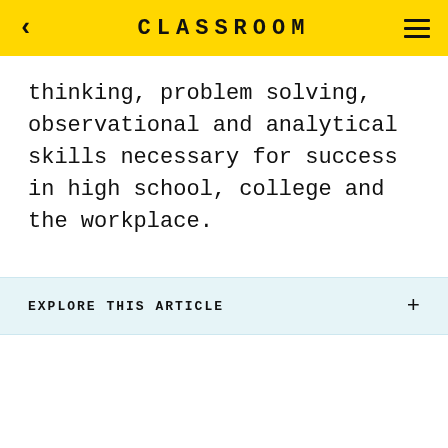CLASSROOM
thinking, problem solving, observational and analytical skills necessary for success in high school, college and the workplace.
EXPLORE THIS ARTICLE